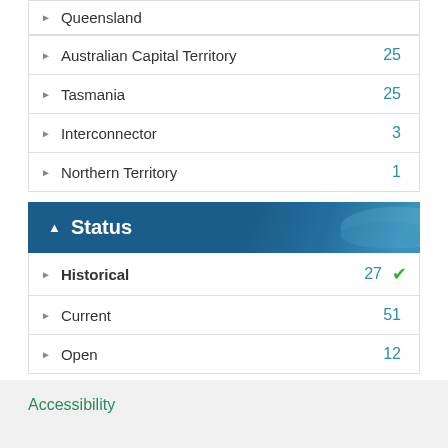Queensland
Australian Capital Territory 25
Tasmania 25
Interconnector 3
Northern Territory 1
▲ Status
Historical 27 ✓
Current 51
Open 12
Social share icons: Facebook, Twitter, LinkedIn, Email, Print
Accessibility